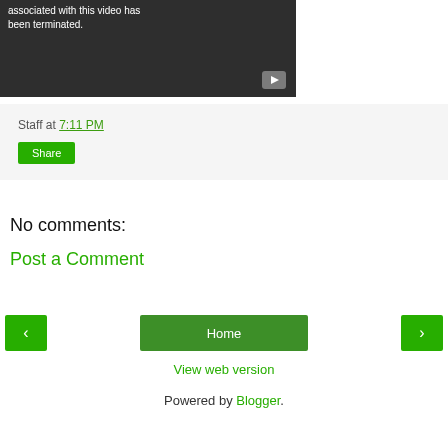[Figure (screenshot): YouTube video embed showing error: account associated with this video has been terminated. Dark background with YouTube play icon.]
Staff at 7:11 PM
Share
No comments:
Post a Comment
< Home >
View web version
Powered by Blogger.